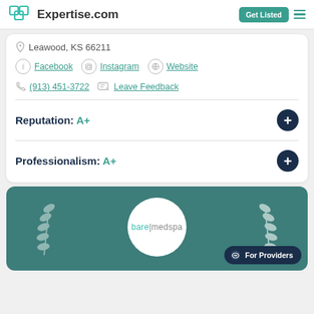Expertise.com — Get Listed
Leawood, KS 66211
Facebook   Instagram   Website
(913) 451-3722   Leave Feedback
Reputation: A+
Professionalism: A+
[Figure (logo): bare|medspa logo inside a white circle with teal laurel wreath decoration on a teal background, with a 'For Providers' chat button overlay]